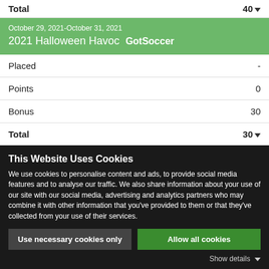| Label | Value |
| --- | --- |
| Total | 40 ▼ |
October 29, 2021-October 31, 2021 · 2021 Halloween Havoc  GotSoccer
| Label | Value |
| --- | --- |
| Placed | - |
| Points | 0 |
| Bonus | 30 |
| Total | 30 ▼ |
This Website Uses Cookies
We use cookies to personalise content and ads, to provide social media features and to analyse our traffic. We also share information about your use of our site with our social media, advertising and analytics partners who may combine it with other information that you've provided to them or that they've collected from your use of their services.
Use necessary cookies only | Allow all cookies
Show details